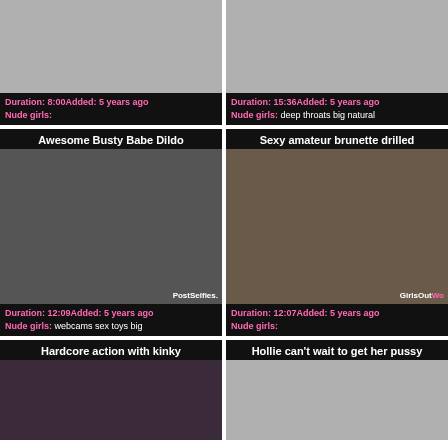[Figure (screenshot): Video thumbnail placeholder gray]
Duration: 8:00Added: 5 years ago Nude girls:
[Figure (screenshot): Video thumbnail placeholder gray]
Duration: 15:36Added: 5 years ago Nude girls: deep throats big natural
Awesome Busty Babe Dildo
[Figure (photo): Woman on bed, PostSelfies watermark]
Duration: 12:09Added: 5 years ago Nude girls: webcams sex toys big
Sexy amateur brunette drilled
[Figure (photo): Two people on bed, GirlsOutWe watermark]
Duration: 12:07Added: 5 years ago Nude girls:
Hardcore action with kinky
[Figure (photo): Partial video thumbnail]
Hollie can't wait to get her pussy
[Figure (screenshot): Video thumbnail placeholder gray]